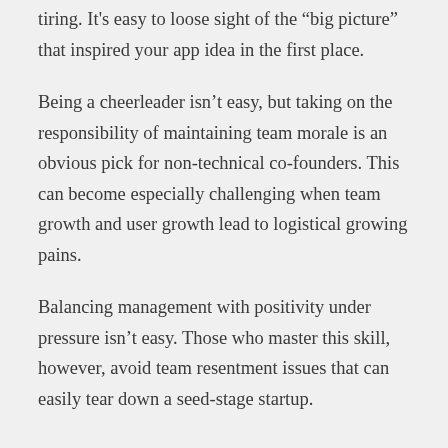tiring. It's easy to loose sight of the “big picture” that inspired your app idea in the first place.
Being a cheerleader isn’t easy, but taking on the responsibility of maintaining team morale is an obvious pick for non-technical co-founders. This can become especially challenging when team growth and user growth lead to logistical growing pains.
Balancing management with positivity under pressure isn’t easy. Those who master this skill, however, avoid team resentment issues that can easily tear down a seed-stage startup.